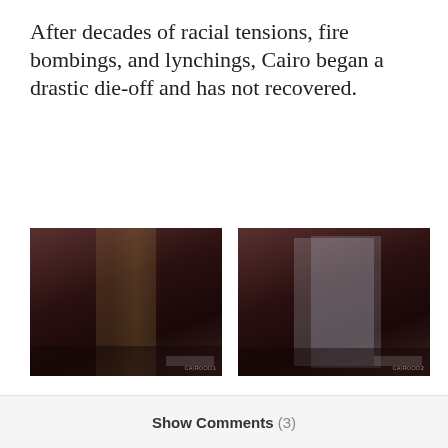After decades of racial tensions, fire bombings, and lynchings, Cairo began a drastic die-off and has not recovered.
[Figure (photo): Interior of an abandoned building in Cairo, Illinois — dark corridor with dim light, decaying walls and floor, viewed from inside looking toward entrance.]
[Figure (photo): Interior of another abandoned building in Cairo, Illinois — dark corridor with light visible at far end, debris on floor, decaying walls.]
Abandoned
Illinois
Town
Sherman Cahal
Show Comments (3)